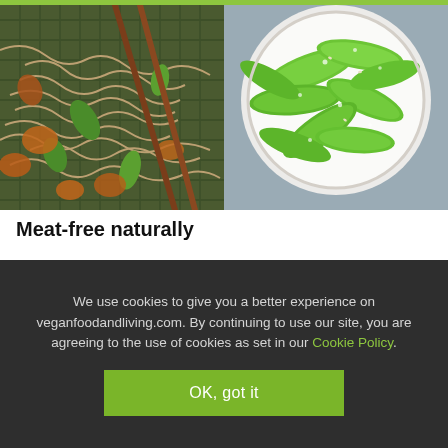[Figure (photo): Split food photo: left side shows soba noodles with mushrooms, green peppers, and chopsticks on a dark mat; right side shows a white bowl filled with fresh snap peas/sugar peas glistening with water droplets on a gray background.]
Meat-free naturally
We use cookies to give you a better experience on veganfoodandliving.com. By continuing to use our site, you are agreeing to the use of cookies as set in our Cookie Policy.
OK, got it